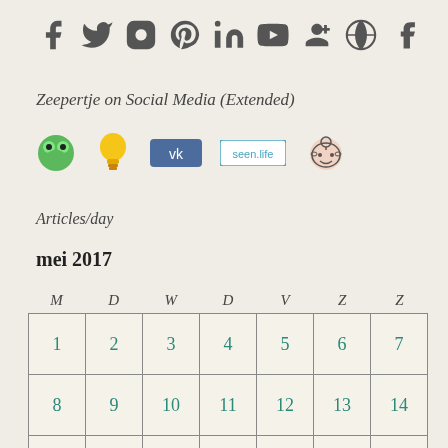[Figure (infographic): Row of social media icons: Facebook, Twitter, Instagram, Pinterest, LinkedIn, YouTube, Google+, WordPress, Tumblr — all in dark grey]
Zeepertje on Social Media (Extended)
[Figure (infographic): Row of additional social media/platform icons: green frog (Kermit/social), yellow lightbulb, VK blue button, seen.life badge, Reddit alien]
Articles/day
mei 2017
| M | D | W | D | V | Z | Z |
| --- | --- | --- | --- | --- | --- | --- |
| 1 | 2 | 3 | 4 | 5 | 6 | 7 |
| 8 | 9 | 10 | 11 | 12 | 13 | 14 |
| 15 | 16 | 17 | 18 | 19 | 20 | 21 |
|  |  |  |  |  |  |  |